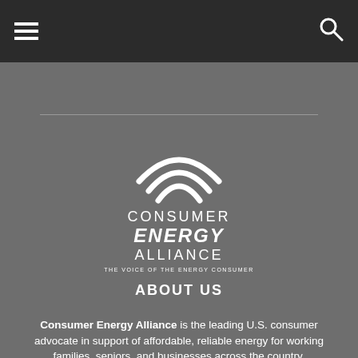Navigation bar with hamburger menu and search icon
[Figure (logo): Consumer Energy Alliance logo: white arc/signal waves above text 'CONSUMER ENERGY ALLIANCE – THE VOICE OF THE ENERGY CONSUMER' on grey background]
ABOUT US
Consumer Energy Alliance is the leading U.S. consumer advocate in support of affordable, reliable energy for working families, seniors, and businesses across the country.